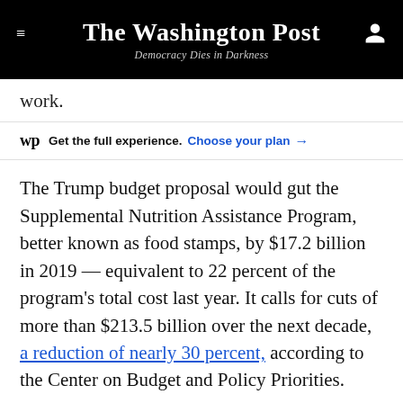The Washington Post — Democracy Dies in Darkness
work.
wp Get the full experience. Choose your plan →
The Trump budget proposal would gut the Supplemental Nutrition Assistance Program, better known as food stamps, by $17.2 billion in 2019 — equivalent to 22 percent of the program's total cost last year. It calls for cuts of more than $213.5 billion over the next decade, a reduction of nearly 30 percent, according to the Center on Budget and Policy Priorities.